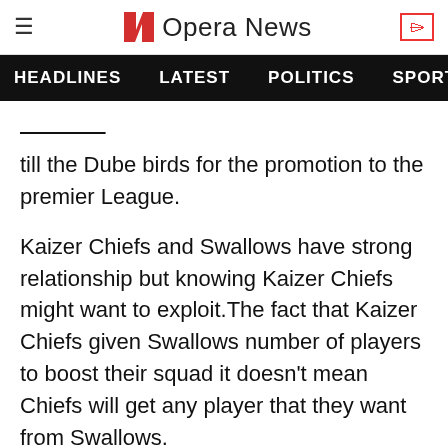Opera News
HEADLINES  LATEST  POLITICS  SPORTS
till the Dube birds for the promotion to the premier League.
Kaizer Chiefs and Swallows have strong relationship but knowing Kaizer Chiefs might want to exploit.The fact that Kaizer Chiefs given Swallows number of players to boost their squad it doesn't mean Chiefs will get any player that they want from Swallows.
According to Swallows CEO Sipho Xulu they have to honour the contract they have with Chiefs regarding the player.Some Kaizer Chiefs [dropdown] s to see Given Thibedi